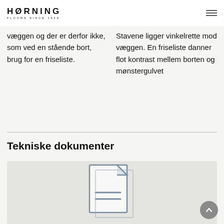HØRNING FLOORS SINCE 1929
væggen og der er derfor ikke, som ved en stående bort, brug for en friseliste.
Stavene ligger vinkelrette mod væggen. En friseliste danner flot kontrast mellem borten og mønstergulvet
Tekniske dokumenter
[Figure (illustration): Document icon illustration on grey background]